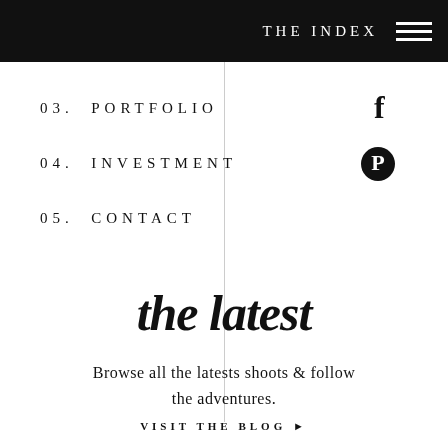THE INDEX
03. PORTFOLIO
04. INVESTMENT
05. CONTACT
the latest
Browse all the latests shoots & follow the adventures.
VISIT THE BLOG ▶